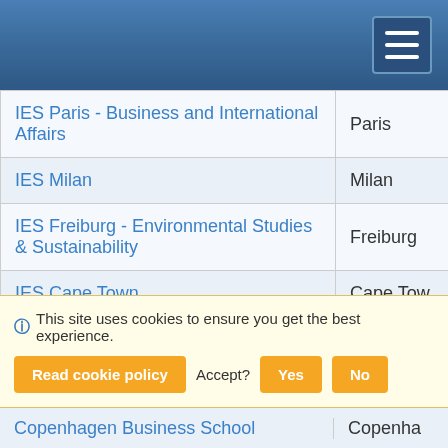Navigation header with hamburger menu
| Institution | City |
| --- | --- |
| IES Paris - Business and International Affairs | Paris |
| IES Milan | Milan |
| IES Freiburg - Environmental Studies & Sustainability | Freiburg |
| IES Cape Town | Cape Town |
| ICCS Rome | Rome |
| Goldsmiths, University of London | London |
| ESSEC | Cergy-Po... |
| ESADE School of Business | Barcelona |
| DIS-Stockholm | Stockholm |
| DIS-Copenhagen | Copenhagen |
| Copenhagen Business School | Copenhagen |
This site uses cookies to ensure you get the best experience. Accept? Yes No
Read cookie policy